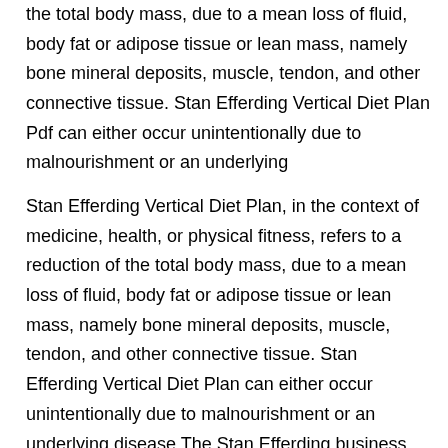the total body mass, due to a mean loss of fluid, body fat or adipose tissue or lean mass, namely bone mineral deposits, muscle, tendon, and other connective tissue. Stan Efferding Vertical Diet Plan Pdf can either occur unintentionally due to malnourishment or an underlying
Stan Efferding Vertical Diet Plan, in the context of medicine, health, or physical fitness, refers to a reduction of the total body mass, due to a mean loss of fluid, body fat or adipose tissue or lean mass, namely bone mineral deposits, muscle, tendon, and other connective tissue. Stan Efferding Vertical Diet Plan can either occur unintentionally due to malnourishment or an underlying disease The Stan Efferding business portfolio includes the Vertical Diet, Apparel, and the Stan Efferding Cooler. All of these feature on his official website. Shark Tank. Stan Efferding appeared on ABCвЂ™s Shark Tank, looking for a $50k investment in exchange for a